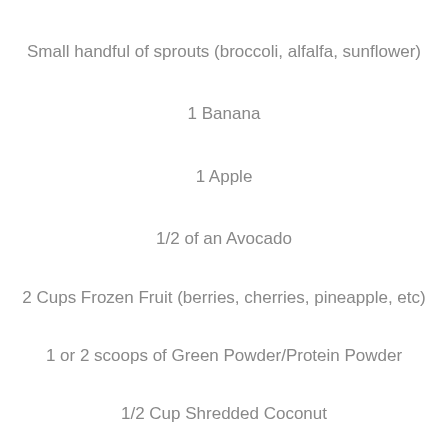Small handful of sprouts (broccoli, alfalfa, sunflower)
1 Banana
1 Apple
1/2 of an Avocado
2 Cups Frozen Fruit (berries, cherries, pineapple, etc)
1 or 2 scoops of Green Powder/Protein Powder
1/2 Cup Shredded Coconut